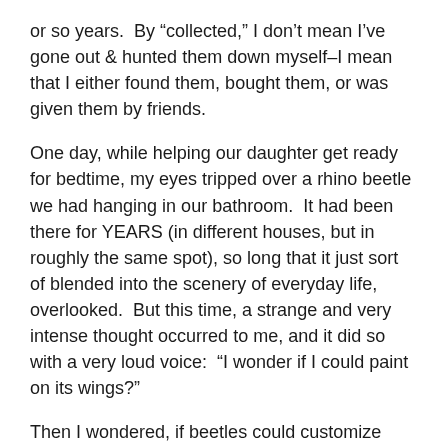or so years.  By “collected,” I don’t mean I’ve gone out & hunted them down myself–I mean that I either found them, bought them, or was given them by friends.
One day, while helping our daughter get ready for bedtime, my eyes tripped over a rhino beetle we had hanging in our bathroom.  It had been there for YEARS (in different houses, but in roughly the same spot), so long that it just sort of blended into the scenery of everyday life, overlooked.  But this time, a strange and very intense thought occurred to me, and it did so with a very loud voice:  “I wonder if I could paint on its wings?”
Then I wondered, if beetles could customize their wings with painted “tattoos,” what would they get?  Beetles often fight, so maybe they would be aggressive battle scenes with intimidating imagery.  But not the typically intimidating